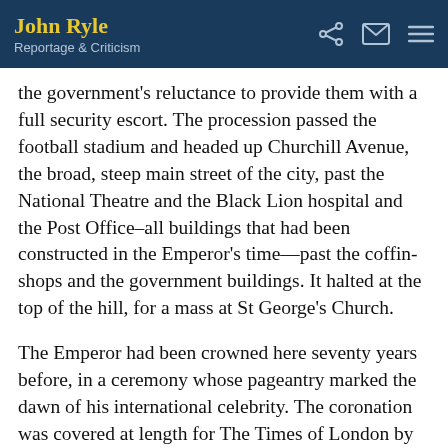John Ryle | Reportage & Criticism
the government's reluctance to provide them with a full security escort. The procession passed the football stadium and headed up Churchill Avenue, the broad, steep main street of the city, past the National Theatre and the Black Lion hospital and the Post Office–all buildings that had been constructed in the Emperor's time—past the coffin-shops and the government buildings. It halted at the top of the hill, for a mass at St George's Church.
The Emperor had been crowned here seventy years before, in a ceremony whose pageantry marked the dawn of his international celebrity. The coronation was covered at length for The Times of London by Evelyn Waugh, who later lampooned the event in his novel, Black Mischief.  In the United States National Geographic magazine— mindful, no doubt of what